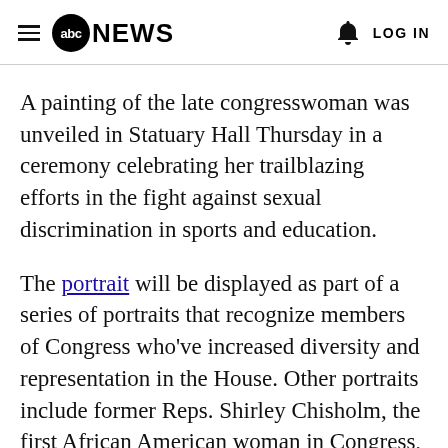abc NEWS   LOG IN
A painting of the late congresswoman was unveiled in Statuary Hall Thursday in a ceremony celebrating her trailblazing efforts in the fight against sexual discrimination in sports and education.
The portrait will be displayed as part of a series of portraits that recognize members of Congress who've increased diversity and representation in the House. Other portraits include former Reps. Shirley Chisholm, the first African American woman in Congress, and Florence Kahn, the first Jewish woman in Congress.